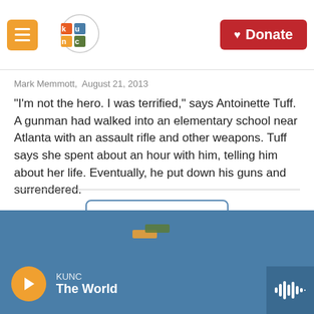KUNC — Donate
Mark Memmott,  August 21, 2013
"I'm not the hero. I was terrified," says Antoinette Tuff. A gunman had walked into an elementary school near Atlanta with an assault rifle and other weapons. Tuff says she spent about an hour with him, telling him about her life. Eventually, he put down his guns and surrendered.
Load More
KUNC The World